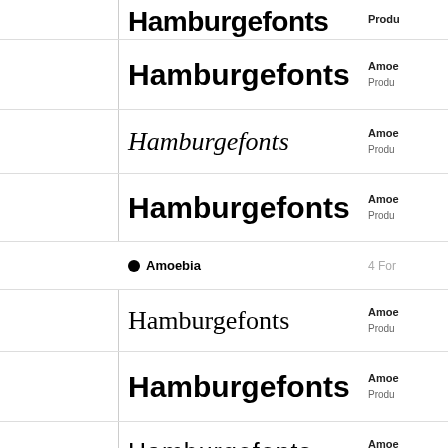Hamburgefonts (partial, top, bold-black)
Hamburgefonts - Amoebia bold
Hamburgefonts - Amoebia light italic
Hamburgefonts - Amoebia bold
● Amoebia  4 Fonts
Hamburgefonts - Amoebia light serif
Hamburgefonts - Amoebia bold
Hamburgefonts - Amoebia thin
Hamburgefonts - Amoebia bold (partial, bottom)